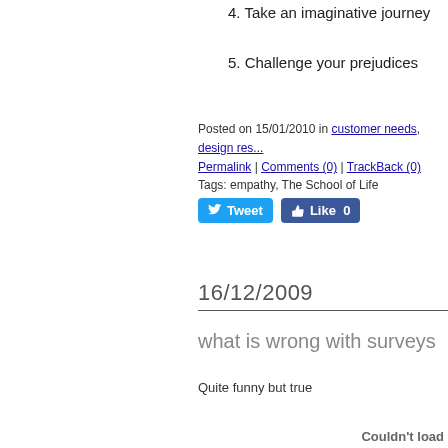4. Take an imaginative journey
5. Challenge your prejudices
Posted on 15/01/2010 in customer needs, design res... | Permalink | Comments (0) | TrackBack (0)
Tags: empathy, The School of Life
[Tweet button] [Like 0 button]
16/12/2009
what is wrong with surveys
Quite funny but true
Couldn't load